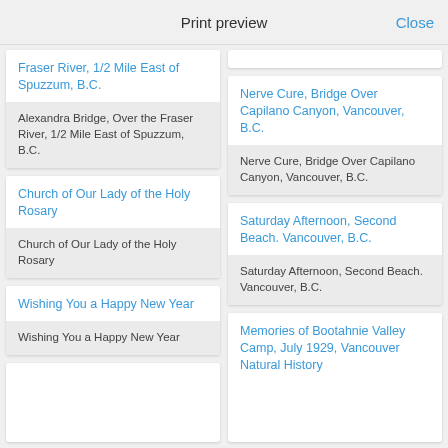Print preview
Close
Fraser River, 1/2 Mile East of Spuzzum, B.C.
Alexandra Bridge, Over the Fraser River, 1/2 Mile East of Spuzzum, B.C.
Nerve Cure, Bridge Over Capilano Canyon, Vancouver, B.C.
Nerve Cure, Bridge Over Capilano Canyon, Vancouver, B.C.
Church of Our Lady of the Holy Rosary
Church of Our Lady of the Holy Rosary
Saturday Afternoon, Second Beach. Vancouver, B.C.
Saturday Afternoon, Second Beach. Vancouver, B.C.
Wishing You a Happy New Year
Wishing You a Happy New Year
Memories of Bootahnie Valley Camp, July 1929, Vancouver Natural History